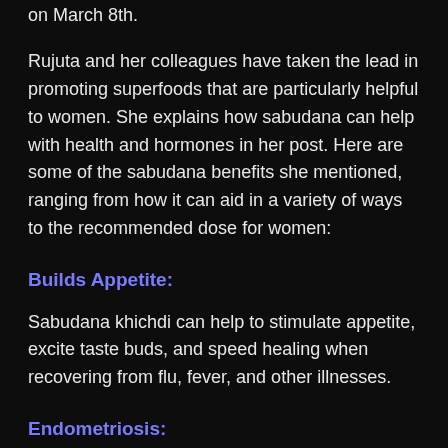on March 8th.
Rujuta and her colleagues have taken the lead in promoting superfoods that are particularly helpful to women. She explains how sabudana can help with health and hormones in her post. Here are some of the sabudana benefits she mentioned, ranging from how it can aid in a variety of ways to the recommended dose for women:
Builds Appetite:
Sabudana khichdi can help to stimulate appetite, excite taste buds, and speed healing when recovering from flu, fever, and other illnesses.
Endometriosis:
Sabudana can help with menopause and endometriosis by preventing excessive bleeding.